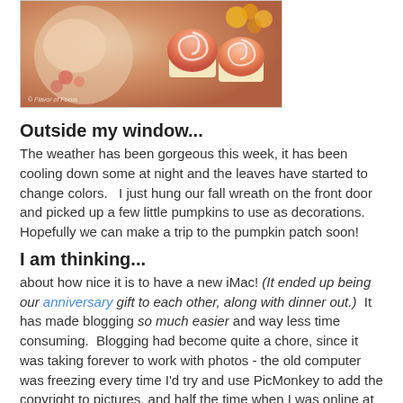[Figure (photo): A child with cupcakes with orange/red frosting swirls, decorative photo with watermark text]
Outside my window...
The weather has been gorgeous this week, it has been cooling down some at night and the leaves have started to change colors.   I just hung our fall wreath on the front door and picked up a few little pumpkins to use as decorations.  Hopefully we can make a trip to the pumpkin patch soon!
I am thinking...
about how nice it is to have a new iMac! (It ended up being our anniversary gift to each other, along with dinner out.)  It has made blogging so much easier and way less time consuming.  Blogging had become quite a chore, since it was taking forever to work with photos - the old computer was freezing every time I'd try and use PicMonkey to add the copyright to pictures, and half the time when I was online at all.   It wasn't in the plan to purchase a new computer quite